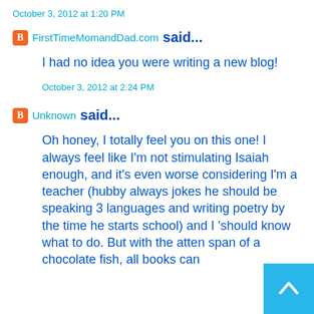October 3, 2012 at 1:20 PM
FirstTimeMomandDad.com said...
I had no idea you were writing a new blog!
October 3, 2012 at 2:24 PM
Unknown said...
Oh honey, I totally feel you on this one! I always feel like I'm not stimulating Isaiah enough, and it's even worse considering I'm a teacher (hubby always jokes he should be speaking 3 languages and writing poetry by the time he starts school) and I 'should know what to do. But with the atten span of a chocolate fish, all books can